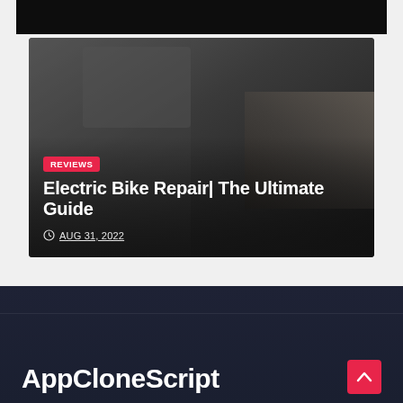[Figure (photo): Dark image strip at top showing partial scene, partially cropped]
[Figure (photo): Photo of a person in a suit crouching down plugging in an electric bike charger on a cobblestone surface]
REVIEWS
Electric Bike Repair| The Ultimate Guide
AUG 31, 2022
AppCloneScript